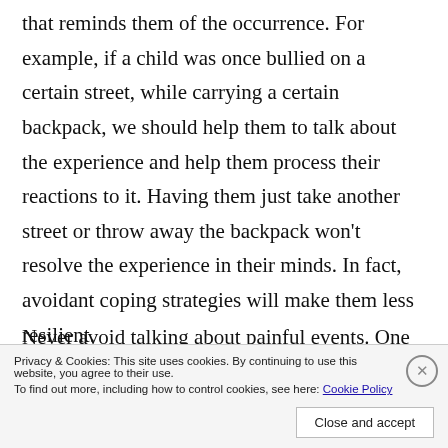that reminds them of the occurrence. For example, if a child was once bullied on a certain street, while carrying a certain backpack, we should help them to talk about the experience and help them process their reactions to it. Having them just take another street or throw away the backpack won't resolve the experience in their minds. In fact, avoidant coping strategies will make them less resilient.
Never avoid talking about painful events. One of the
Privacy & Cookies: This site uses cookies. By continuing to use this website, you agree to their use.
To find out more, including how to control cookies, see here: Cookie Policy